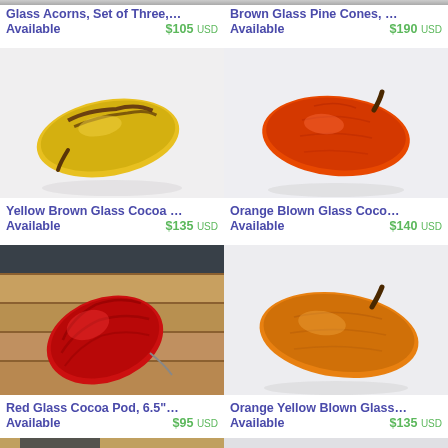[Figure (photo): Glass Acorns product photo (cropped top)]
[Figure (photo): Brown Glass Pine Cones product photo (cropped top)]
Glass Acorns, Set of Three,...
Available    $105 USD
Brown Glass Pine Cones, ...
Available    $190 USD
[Figure (photo): Yellow Brown Glass Cocoa pod on white background]
[Figure (photo): Orange Blown Glass Cocoa pod on white background]
Yellow Brown Glass Cocoa ...
Available    $135 USD
Orange Blown Glass Coco...
Available    $140 USD
[Figure (photo): Red Glass Cocoa Pod on wooden background]
[Figure (photo): Orange Yellow Blown Glass cocoa pod on white background]
Red Glass Cocoa Pod, 6.5"...
Available    $95 USD
Orange Yellow Blown Glass...
Available    $135 USD
[Figure (photo): Partially visible product photo at bottom left]
[Figure (photo): Partially visible product photo at bottom right]